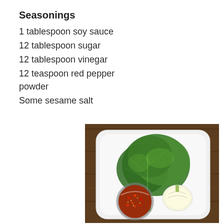Seasonings
1 tablespoon soy sauce
12 tablespoon sugar
12 tablespoon vinegar
12 teaspoon red pepper powder
Some sesame salt
[Figure (photo): Overhead view of a white plate on a wooden table with a large green leafy vegetable (lettuce/cabbage), a white bulb (onion), and a glass bowl of red spice seasoning mix.]